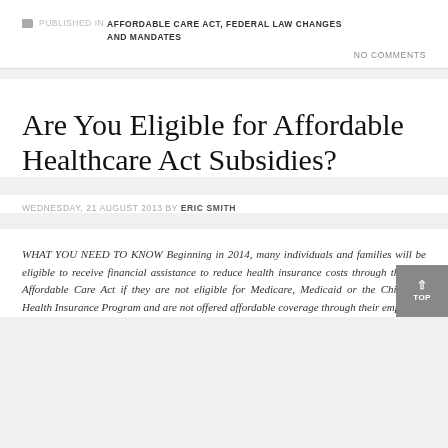PUBLISHED IN AFFORDABLE CARE ACT, FEDERAL LAW CHANGES AND MANDATES
NO COMMENTS
Are You Eligible for Affordable Healthcare Act Subsidies?
WEDNESDAY, 21 AUGUST 2013 BY ERIC SMITH
WHAT YOU NEED TO KNOW Beginning in 2014, many individuals and families will be eligible to receive financial assistance to reduce health insurance costs through the new Affordable Care Act if they are not eligible for Medicare, Medicaid or the Children's Health Insurance Program and are not offered affordable coverage through their employer.